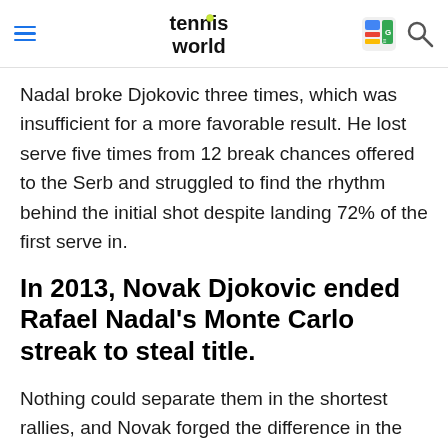tennis world
Nadal broke Djokovic three times, which was insufficient for a more favorable result. He lost serve five times from 12 break chances offered to the Serb and struggled to find the rhythm behind the initial shot despite landing 72% of the first serve in.
In 2013, Novak Djokovic ended Rafael Nadal's Monte Carlo streak to steal title.
Nothing could separate them in the shortest rallies, and Novak forged the difference in the mid-